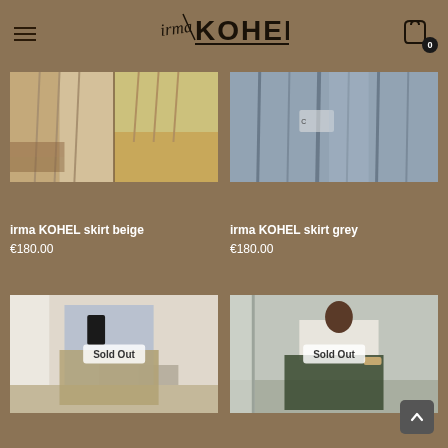irma KOHEL — navigation header with hamburger menu, logo, and cart icon showing 0 items
[Figure (photo): irma KOHEL skirt beige product photo collage — two images side by side showing beige flowing skirt]
irma KOHEL skirt beige
€180.00
[Figure (photo): irma KOHEL skirt grey product photo — grey fabric close-up]
irma KOHEL skirt grey
€180.00
[Figure (photo): Product photo of woman in blue shirt and khaki pleated skirt taking mirror selfie, with Sold Out badge]
[Figure (photo): Product photo of woman in cream sweater and dark green skirt standing in studio, with Sold Out badge]